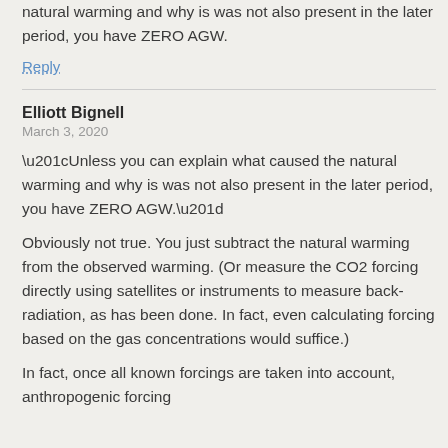natural warming and why is was not also present in the later period, you have ZERO AGW.
Reply
Elliott Bignell
March 3, 2020
“Unless you can explain what caused the natural warming and why is was not also present in the later period, you have ZERO AGW.”
Obviously not true. You just subtract the natural warming from the observed warming. (Or measure the CO2 forcing directly using satellites or instruments to measure back-radiation, as has been done. In fact, even calculating forcing based on the gas concentrations would suffice.)
In fact, once all known forcings are taken into account, anthropogenic forcing accounts for MORE than 100% of observed...